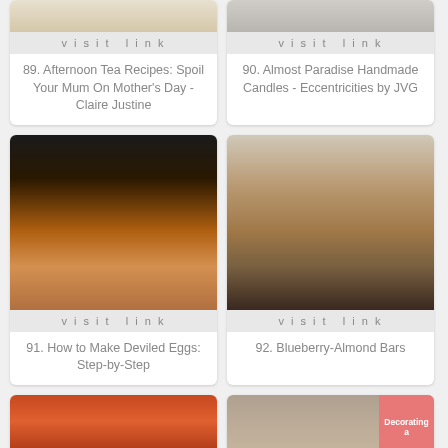[Figure (photo): Partial view of afternoon tea recipes photo at top]
89. Afternoon Tea Recipes: Spoil Your Mum On Mother's Day - Claire Justine
[Figure (photo): Partial view of handmade candles photo at top]
90. Almost Paradise Handmade Candles - Eccentricities by JVG
[Figure (photo): Deviled eggs with pickles on wooden cutting board]
91. How to Make Deviled Eggs: Step-by-Step
[Figure (photo): Blueberry-almond bars stacked on a plate]
92. Blueberry-Almond Bars
[Figure (photo): Partial view of item 93 photo at bottom left]
[Figure (photo): Partial view of item 94 with Decorating a text overlay at bottom right]